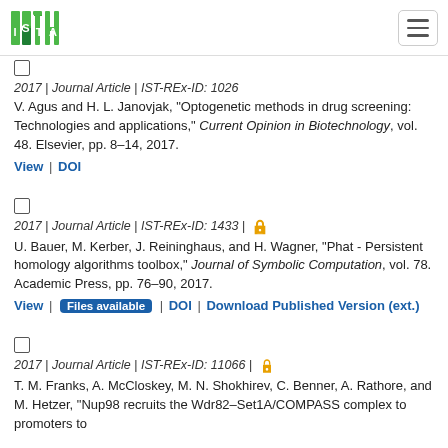ISTA logo and navigation
2017 | Journal Article | IST-REx-ID: 1026
V. Agus and H. L. Janovjak, "Optogenetic methods in drug screening: Technologies and applications," Current Opinion in Biotechnology, vol. 48. Elsevier, pp. 8–14, 2017.
View | DOI
2017 | Journal Article | IST-REx-ID: 1433 | [open access]
U. Bauer, M. Kerber, J. Reininghaus, and H. Wagner, "Phat - Persistent homology algorithms toolbox," Journal of Symbolic Computation, vol. 78. Academic Press, pp. 76–90, 2017.
View | Files available | DOI | Download Published Version (ext.)
2017 | Journal Article | IST-REx-ID: 11066 | [open access]
T. M. Franks, A. McCloskey, M. N. Shokhirev, C. Benner, A. Rathore, and M. Hetzer, "Nup98 recruits the Wdr82–Set1A/COMPASS complex to promoters to